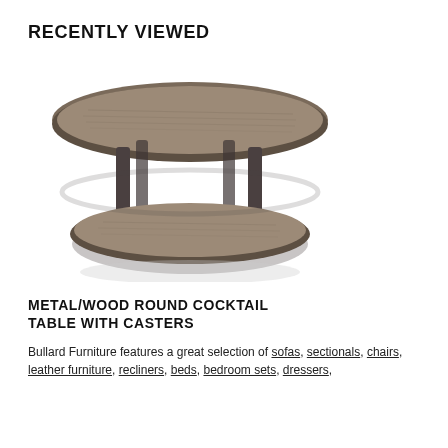RECENTLY VIEWED
[Figure (photo): A round metal and wood cocktail table with two tiers. Dark brown wood surfaces, metal frame with legs, shown at an angle.]
METAL/WOOD ROUND COCKTAIL TABLE WITH CASTERS
Bullard Furniture features a great selection of sofas, sectionals, chairs, leather furniture, recliners, beds, bedroom sets, dressers,